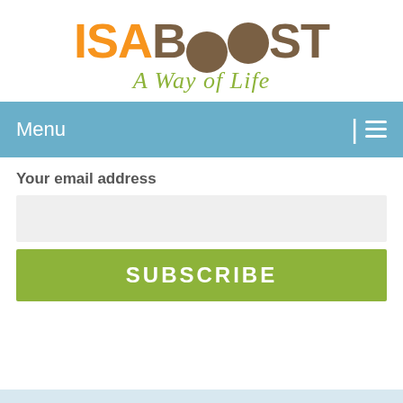[Figure (logo): IsaBoost logo with orange ISA text, brown BOOST text with circular O element, and green italic 'A Way of Life' subtitle]
Menu
Your email address
SUBSCRIBE
WHY ISAGENIX